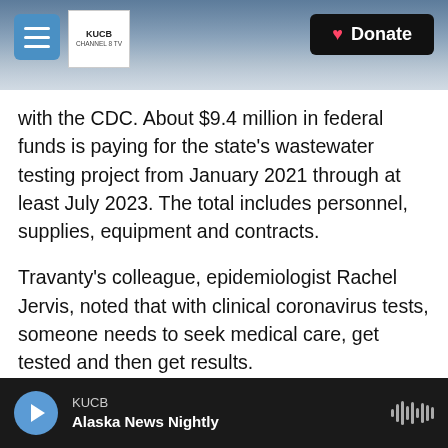[Figure (screenshot): KUCB website header with mountain/snow background, hamburger menu button, KUCB Channel 8 TV logo, and black Donate button with heart icon]
with the CDC. About $9.4 million in federal funds is paying for the state's wastewater testing project from January 2021 through at least July 2023. The total includes personnel, supplies, equipment and contracts.
Travanty's colleague, epidemiologist Rachel Jervis, noted that with clinical coronavirus tests, someone needs to seek medical care, get tested and then get results.
"Whereas with COVID wastewater, we found that up to 50 percent of people will shed COVID virus in their stool regardless of whether or not they have
KUCB
Alaska News Nightly